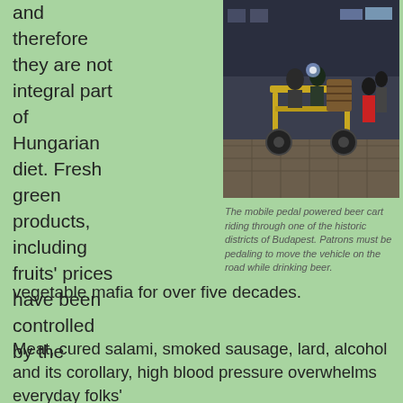and therefore they are not integral part of Hungarian diet. Fresh green products, including fruits' prices have been controlled by the vegetable mafia for over five decades.
[Figure (photo): A mobile pedal powered beer cart with people sitting on it and pedaling, riding through a cobblestone street in Budapest at night. A wooden barrel is visible on the cart.]
The mobile pedal powered beer cart riding through one of the historic districts of Budapest. Patrons must be pedaling to move the vehicle on the road while drinking beer.
Meat, cured salami, smoked sausage, lard, alcohol and its corollary, high blood pressure overwhelms everyday folks' di...